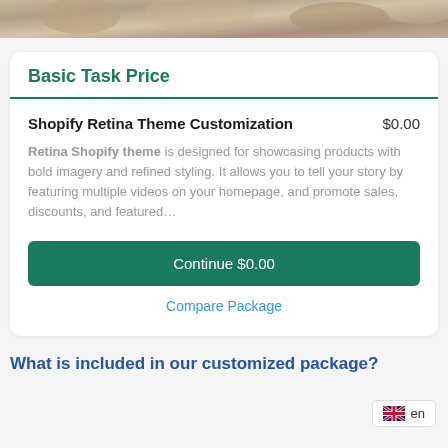[Figure (photo): Partial photo at top of page showing blurred product/lifestyle imagery]
Basic Task Price
Shopify Retina Theme Customization $0.00
Retina Shopify theme is designed for showcasing products with bold imagery and refined styling. It allows you to tell your story by featuring multiple videos on your homepage, and promote sales, discounts, and featured...
Continue $0.00
Compare Package
[Figure (illustration): UK flag icon with 'en' language selector button]
What is included in our customized package?